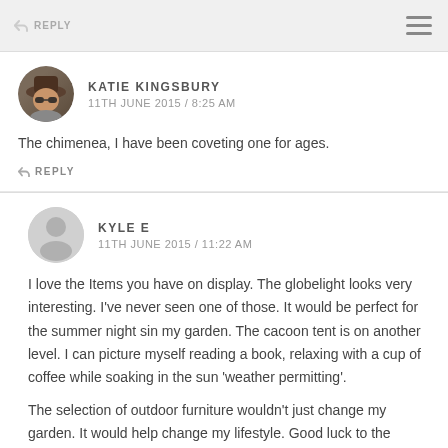REPLY
KATIE KINGSBURY
11TH JUNE 2015 / 8:25 AM
The chimenea, I have been coveting one for ages.
REPLY
KYLE E
11TH JUNE 2015 / 11:22 AM
I love the Items you have on display. The globelight looks very interesting. I’ve never seen one of those. It would be perfect for the summer night sin my garden. The cacoon tent is on another level. I can picture myself reading a book, relaxing with a cup of coffee while soaking in the sun ‘weather permitting’.
The selection of outdoor furniture wouldn’t just change my garden. It would help change my lifestyle. Good luck to the winner. What excellent